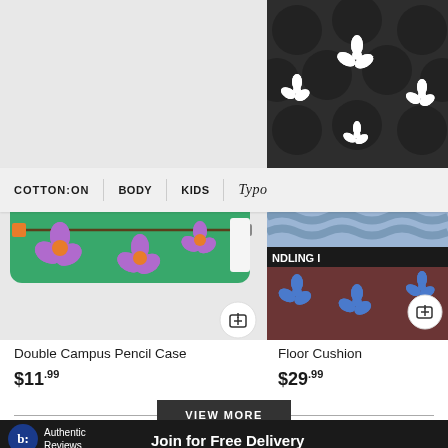[Figure (photo): Green pencil case with purple flower pattern on light gray background]
[Figure (photo): Black floor cushion with white flower pattern on top; stacked blue, black, and brown/blue floral cushions below]
COTTON:ON | BODY | KIDS | Typo
Double Campus Pencil Case
Floor Cushion
$11.99
$29.99
VIEW MORE
× Join for Free Delivery
b: Authentic Reviews